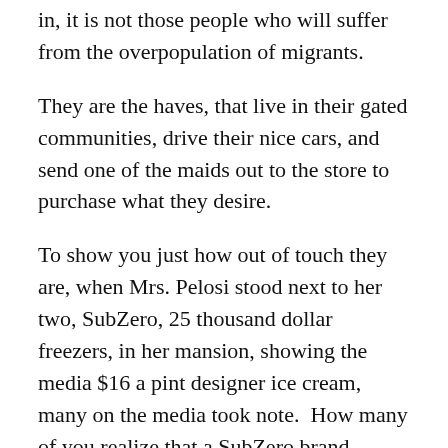in, it is not those people who will suffer from the overpopulation of migrants.
They are the haves, that live in their gated communities, drive their nice cars, and send one of the maids out to the store to purchase what they desire.
To show you just how out of touch they are, when Mrs. Pelosi stood next to her two, SubZero, 25 thousand dollar freezers, in her mansion, showing the media $16 a pint designer ice cream, many on the media took note.  How many of you realize that a SubZero brand freezer is $25K?  She has two.  How many of you buy designer ice cream at $16 a pint?